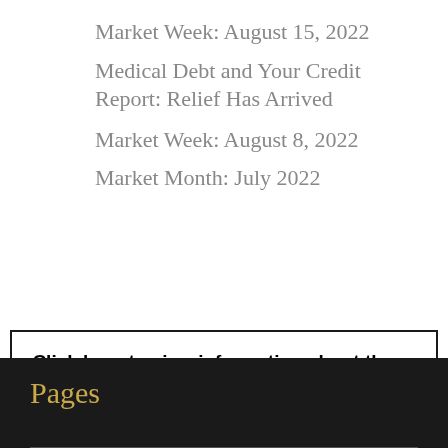Market Week: August 15, 2022
Medical Debt and Your Credit Report: Relief Has Arrived
Market Week: August 8, 2022
Market Month: July 2022
Click here to view information about those insurance licensed in California
Pages